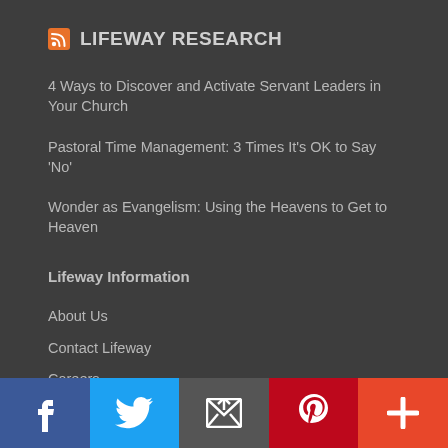LIFEWAY RESEARCH
4 Ways to Discover and Activate Servant Leaders in Your Church
Pastoral Time Management: 3 Times It's OK to Say 'No'
Wonder as Evangelism: Using the Heavens to Get to Heaven
Lifeway Information
About Us
Contact Lifeway
Careers
Licensing & Permissions
[Figure (other): Social media sharing bar with Facebook, Twitter, Email, Pinterest, and More buttons]